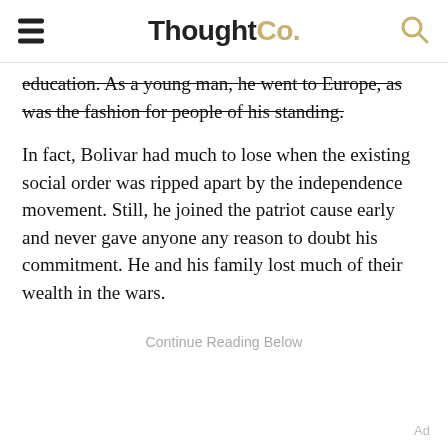ThoughtCo.
education. As a young man, he went to Europe, as was the fashion for people of his standing.
In fact, Bolivar had much to lose when the existing social order was ripped apart by the independence movement. Still, he joined the patriot cause early and never gave anyone any reason to doubt his commitment. He and his family lost much of their wealth in the wars.
Continue Reading Below